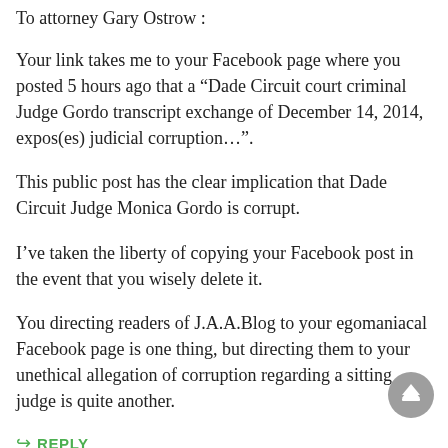To attorney Gary Ostrow :
Your link takes me to your Facebook page where you posted 5 hours ago that a “Dade Circuit court criminal Judge Gordo transcript exchange of December 14, 2014, expos(es) judicial corruption…”.
This public post has the clear implication that Dade Circuit Judge Monica Gordo is corrupt.
I’ve taken the liberty of copying your Facebook post in the event that you wisely delete it.
You directing readers of J.A.A.Blog to your egomaniacal Facebook page is one thing, but directing them to your unethical allegation of corruption regarding a sitting judge is quite another.
REPLY